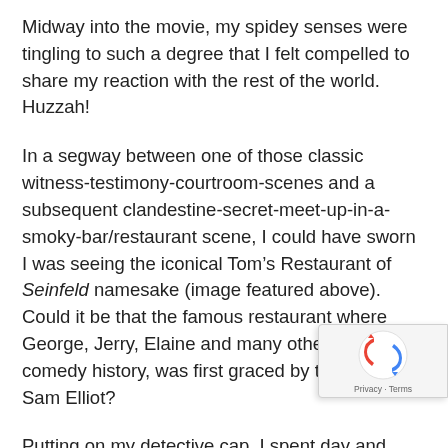Midway into the movie, my spidey senses were tingling to such a degree that I felt compelled to share my reaction with the rest of the world. Huzzah!
In a segway between one of those classic witness-testimony-courtroom-scenes and a subsequent clandestine-secret-meet-up-in-a-smoky-bar/restaurant scene, I could have sworn I was seeing the iconical Tom’s Restaurant of Seinfeld namesake (image featured above). Could it be that the famous restaurant where George, Jerry, Elaine and many others made comedy history, was first graced by the likes of Sam Elliot?
Putting on my detective cap, I spent day and night researching the hell out of this subject. Initially, it appeared I had excavated a rare cinematic gem that would be forever ensconse my namesake as